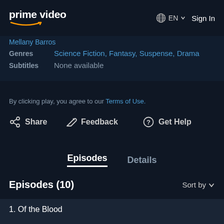prime video — EN — Sign In
Mellany Barros
Genres: Science Fiction, Fantasy, Suspense, Drama
Subtitles: None available
By clicking play, you agree to our Terms of Use.
Share
Feedback
Get Help
Episodes | Details
Episodes (10)
Sort by
1. Of the Blood